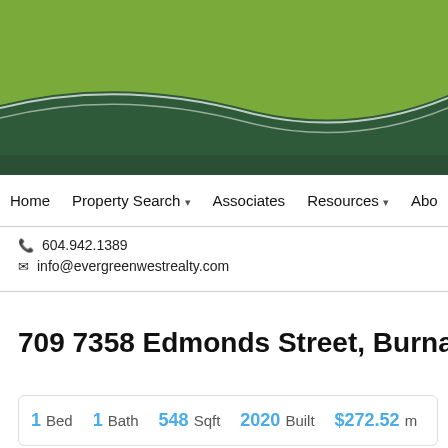[Figure (illustration): Green wave website header graphic with light green upper area and dark green lower wave band with white dividing lines]
Home  Property Search ▾  Associates  Resources ▾  Abo
☎ 604.942.1389
✉ info@evergreenwestrealty.com
709 7358 Edmonds Street, Burnaby  Listing
1 Bed  1 Bath  548 Sqft  2020 Built  $272.52 m...